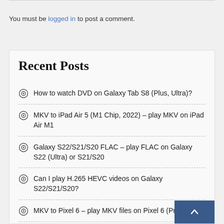You must be logged in to post a comment.
Recent Posts
How to watch DVD on Galaxy Tab S8 (Plus, Ultra)?
MKV to iPad Air 5 (M1 Chip, 2022) – play MKV on iPad Air M1
Galaxy S22/S21/S20 FLAC – play FLAC on Galaxy S22 (Ultra) or S21/S20
Can I play H.265 HEVC videos on Galaxy S22/S21/S20?
MKV to Pixel 6 – play MKV files on Pixel 6 (Pro)